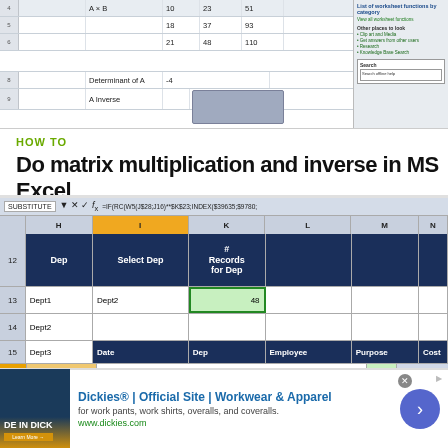[Figure (screenshot): MS Excel screenshot showing matrix A x B multiplication result with values 10,23,51 / 18,37,93 / 21,48,110, Determinant of A = -4, and A Inverse cell with a selected range. Right panel shows Excel help sidebar.]
HOW TO
Do matrix multiplication and inverse in MS Excel
[Figure (screenshot): MS Excel screenshot showing columns H, I (Select Dep, highlighted orange), K (# Records for Dep), L, M, N with rows 12-17. Row 12 header row shows Dep, Select Dep, # Records for Dep. Row 13 shows Dept1, Dept2, 48. Rows 14-17 show Dept2-Dept5 with formula bar showing SUBSTITUTE/INDEX formula. Row 15 shows Date/Dep/Employee/Purpose/Cost header. Row 16 highlighted orange shows Dept4 and numeric sequences.]
[Figure (screenshot): Advertisement banner for Dickies workwear with logo image, title 'Dickies® | Official Site | Workwear & Apparel', subtitle about work pants shirts overalls, URL www.dickies.com, and blue circular arrow button.]